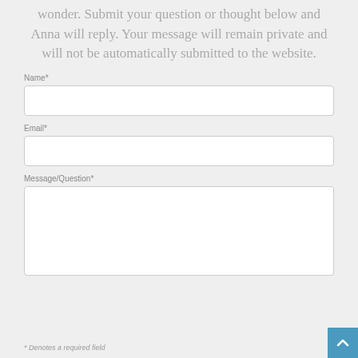wonder. Submit your question or thought below and Anna will reply. Your message will remain private and will not be automatically submitted to the website.
Name*
Email*
Message/Question*
* Denotes a required field